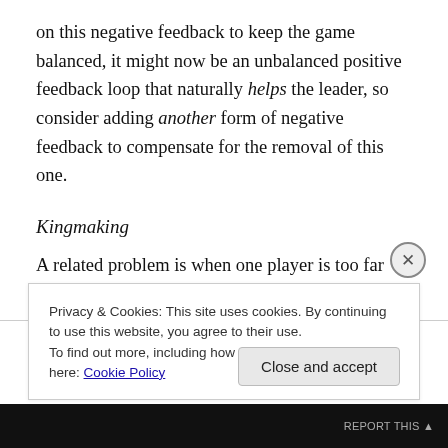on this negative feedback to keep the game balanced, it might now be an unbalanced positive feedback loop that naturally helps the leader, so consider adding another form of negative feedback to compensate for the removal of this one.
Kingmaking
A related problem is when one player is too far behind to win, but they are in a position to decide which of two other people wins. Sometimes this happens directly – in a game with trading and negotiation, the player who's behind might
Privacy & Cookies: This site uses cookies. By continuing to use this website, you agree to their use.
To find out more, including how to control cookies, see here: Cookie Policy
Close and accept